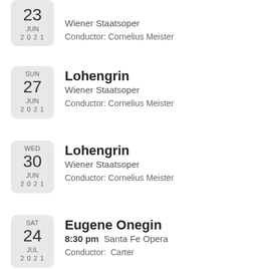23 JUN 2021 — Wiener Staatsoper — Conductor: Cornelius Meister
SUN 27 JUN 2021 — Lohengrin — Wiener Staatsoper — Conductor: Cornelius Meister
WED 30 JUN 2021 — Lohengrin — Wiener Staatsoper — Conductor: Cornelius Meister
SAT 24 JUL 2021 — Eugene Onegin — 8:30 pm Santa Fe Opera — Conductor: Carter